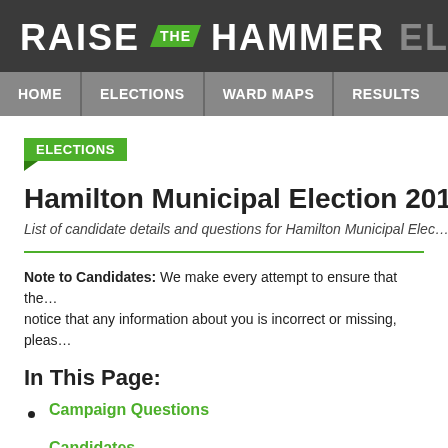RAISE THE HAMMER ELE
HOME | ELECTIONS | WARD MAPS | RESULTS
ELECTIONS
Hamilton Municipal Election 2018 (M…
List of candidate details and questions for Hamilton Municipal Elec…
Note to Candidates: We make every attempt to ensure that the… notice that any information about you is incorrect or missing, pleas…
In This Page:
Campaign Questions
Candidates